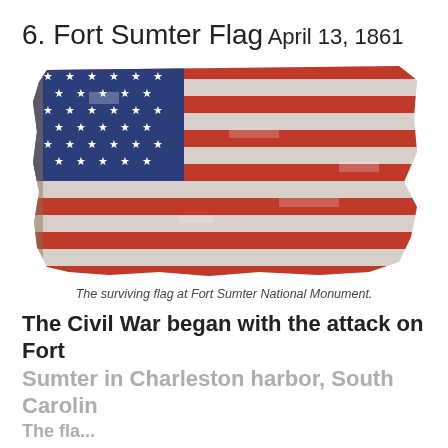6. Fort Sumter Flag
April 13, 1861
[Figure (photo): A tattered and battle-worn American flag with 33 stars in the canton (blue field) and red and white stripes, showing significant damage and fraying — the Fort Sumter flag, photographed at Fort Sumter National Monument.]
The surviving flag at Fort Sumter National Monument.
The Civil War began with the attack on Fort Sumter in Charleston harbor, South Carolina. The flag...